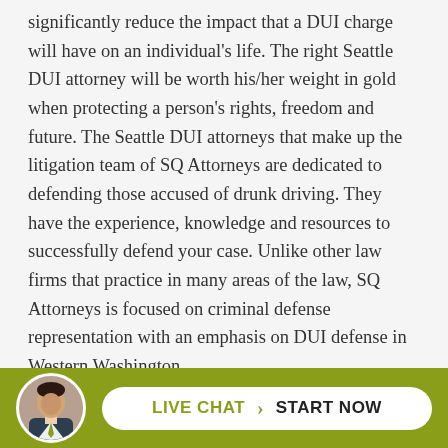significantly reduce the impact that a DUI charge will have on an individual's life. The right Seattle DUI attorney will be worth his/her weight in gold when protecting a person's rights, freedom and future. The Seattle DUI attorneys that make up the litigation team of SQ Attorneys are dedicated to defending those accused of drunk driving. They have the experience, knowledge and resources to successfully defend your case. Unlike other law firms that practice in many areas of the law, SQ Attorneys is focused on criminal defense representation with an emphasis on DUI defense in Western Washington.

If you or a loved one is faced with a DUI charge in Western Washington, you deserve the assistance of a reputable and qualified Seattle DUI attorney who will relentlessly
[Figure (other): Live chat widget bar with circular avatar photo of a man in a suit, and a white pill-shaped button reading 'LIVE CHAT > START NOW' on an olive/yellow-green background.]